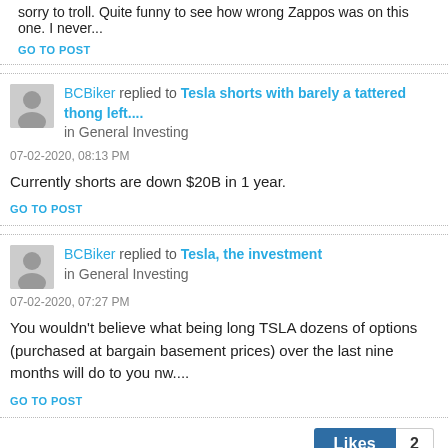sorry to troll. Quite funny to see how wrong Zappos was on this one. I never...
GO TO POST
BCBiker replied to Tesla shorts with barely a tattered thong left.... in General Investing
07-02-2020, 08:13 PM
Currently shorts are down $20B in 1 year.
GO TO POST
BCBiker replied to Tesla, the investment in General Investing
07-02-2020, 07:27 PM
You wouldn't believe what being long TSLA dozens of options (purchased at bargain basement prices) over the last nine months will do to you nw....
GO TO POST
Likes 2